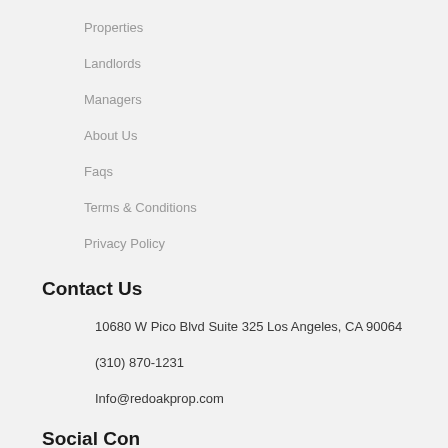Properties
Landlords
Managers
About Us
Faqs
Terms & Conditions
Privacy Policy
Contact Us
10680 W Pico Blvd Suite 325 Los Angeles, CA 90064
(310) 870-1231
Info@redoakprop.com
Social Connect